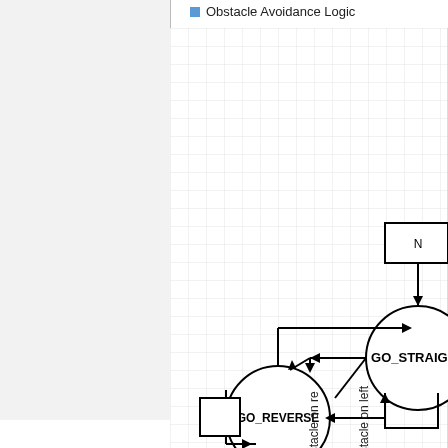[Figure (flowchart): Partial state machine diagram showing Obstacle Avoidance Logic with states GO_STRAIGHT and GO_REVERSE connected by arrows. Transitions labeled 'if obstacle on reverse' and 'if obstacle on left' are shown as vertical rotated text on connector lines extending downward off the page. A legend at top shows a blue square with 'Obstacle Avoidance Logic'. The diagram sits on a light grid background. The left third of the page is a plain gray panel.]